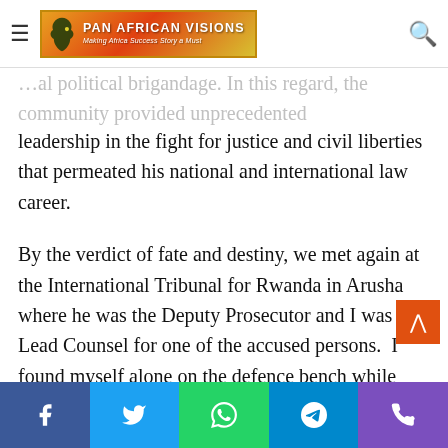Pan African Visions — Making Africa Success Story a Must
leadership in the fight for justice and civil liberties that permeated his national and international law career.
By the verdict of fate and destiny, we met again at the International Tribunal for Rwanda in Arusha where he was the Deputy Prosecutor and I was a Lead Counsel for one of the accused persons. I found myself alone on the defence bench while Ben, Carla Deponte and five other Prosecutors were on the prosecution bench to argue an interlocutory appeal, I filed before the Appeals Chamber of the ICTR. I stood my ground and responded to the alternate submissions by all the members of the prosecution team. At the close of the session, Ben moved across to me and we briefly laughed at the fact that Ben was back where he began his law career as a
Facebook | Twitter | WhatsApp | Telegram | Phone